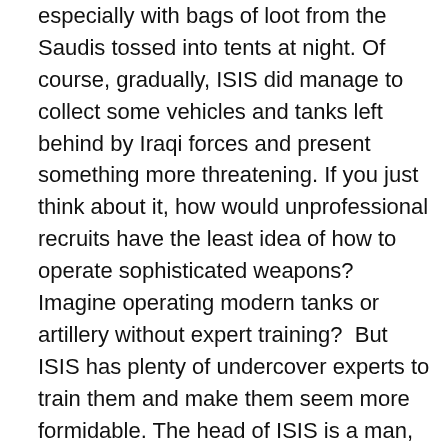especially with bags of loot from the Saudis tossed into tents at night. Of course, gradually, ISIS did manage to collect some vehicles and tanks left behind by Iraqi forces and present something more threatening. If you just think about it, how would unprofessional recruits have the least idea of how to operate sophisticated weapons? Imagine operating modern tanks or artillery without expert training?  But ISIS has plenty of undercover experts to train them and make them seem more formidable. The head of ISIS is a man, Abu Bakr al-Baghdadi, who was an American prisoner for a time. He seems to know America's greatest plug-ugly senator and roaming unofficial ambassador for killing, John McCain (judging from a number of photos on the Internet showing them together), and he is, according to a number of sources, actually a former Jewish actor named Elliot Shimon, trained by Mossad for a different kind of theater...